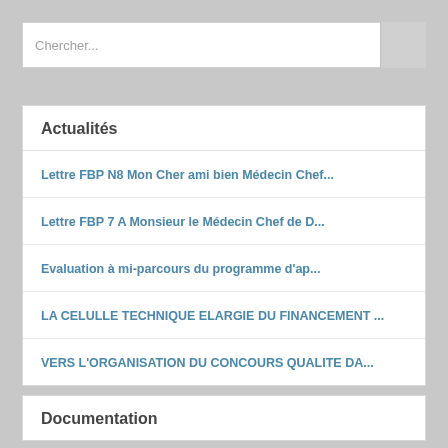Chercher...
Actualités
Lettre FBP N8 Mon Cher ami bien Médecin Chef...
Lettre FBP 7 A Monsieur le Médecin Chef de D...
Evaluation à mi-parcours du programme d'ap...
LA CELULLE TECHNIQUE ELARGIE DU FINANCEMENT ...
VERS L'ORGANISATION DU CONCOURS QUALITE DA...
Documentation